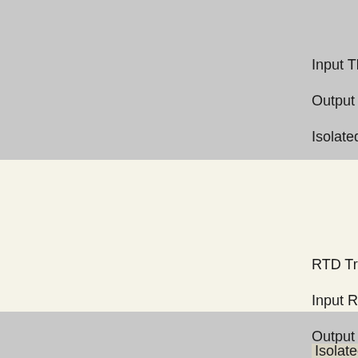Input Thermo
Output 4-20
Isolated Inpu
RTD Transm
Input RTD P
Output 4-20
Isolated Inpu
BACK TO TOP